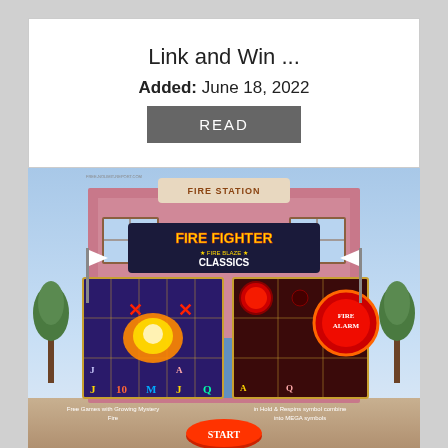Link and Win ...
Added: June 18, 2022
READ
[Figure (screenshot): Fire Fighter Fire Blaze Classics slot game screenshot showing fire station background, game reels with firefighter symbols and fire effects on left side, and hold & respins symbols on right side, with START button at bottom]